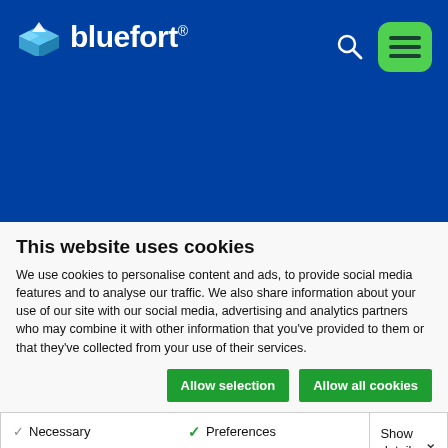[Figure (logo): Bluefort company logo with blue origami box icon and white text 'bluefort' on dark blue header background, with search icon and green hamburger menu button]
This website uses cookies
We use cookies to personalise content and ads, to provide social media features and to analyse our traffic. We also share information about your use of our site with our social media, advertising and analytics partners who may combine it with other information that you've provided to them or that they've collected from your use of their services.
Allow selection | Allow all cookies
Necessary  Preferences  Statistics  Marketing  Show details